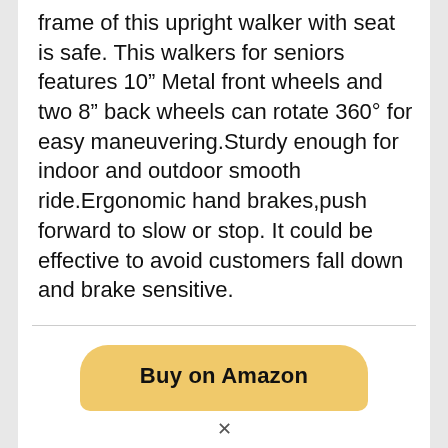frame of this upright walker with seat is safe. This walkers for seniors features 10" Metal front wheels and two 8" back wheels can rotate 360° for easy maneuvering.Sturdy enough for indoor and outdoor smooth ride.Ergonomic hand brakes,push forward to slow or stop. It could be effective to avoid customers fall down and brake sensitive.
[Figure (other): Yellow rounded button labeled 'Buy on Amazon']